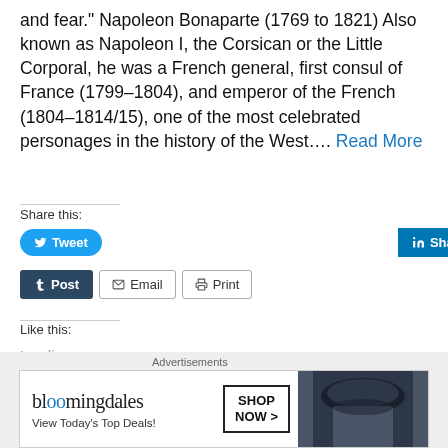and fear." Napoleon Bonaparte (1769 to 1821) Also known as Napoleon I, the Corsican or the Little Corporal, he was a French general, first consul of France (1799–1804), and emperor of the French (1804–1814/15), one of the most celebrated personages in the history of the West.... Read More
Share this:
[Figure (screenshot): Social share buttons: Tweet (Twitter/blue), Share (LinkedIn/blue), Save (Pinterest/red), Post (Tumblr/dark), Email, Print]
Like this:
Loading...
[Figure (screenshot): Close (X) button circle]
Advertisements
[Figure (screenshot): Bloomingdale's advertisement banner: bloomingdales logo, 'View Today's Top Deals!' text, woman with large hat, 'SHOP NOW >' button]